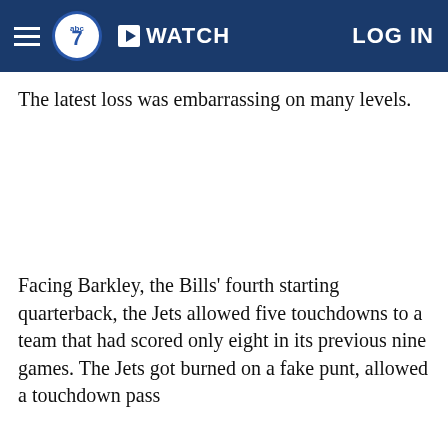abc7 | WATCH | LOG IN
The latest loss was embarrassing on many levels.
Facing Barkley, the Bills' fourth starting quarterback, the Jets allowed five touchdowns to a team that had scored only eight in its previous nine games. The Jets got burned on a fake punt, allowed a touchdown pass